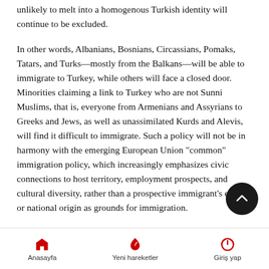unlikely to melt into a homogenous Turkish identity will continue to be excluded.
In other words, Albanians, Bosnians, Circassians, Pomaks, Tatars, and Turks—mostly from the Balkans—will be able to immigrate to Turkey, while others will face a closed door. Minorities claiming a link to Turkey who are not Sunni Muslims, that is, everyone from Armenians and Assyrians to Greeks and Jews, as well as unassimilated Kurds and Alevis, will find it difficult to immigrate. Such a policy will not be in harmony with the emerging European Union "common" immigration policy, which increasingly emphasizes civic connections to host territory, employment prospects, and cultural diversity, rather than a prospective immigrant's ethnic or national origin as grounds for immigration.
There are nevertheless areas where a gradual realignment towards EU practice is occurring. Turkey, as part and parcel of
Anasayfa  Yeni hareketler  Giriş yap